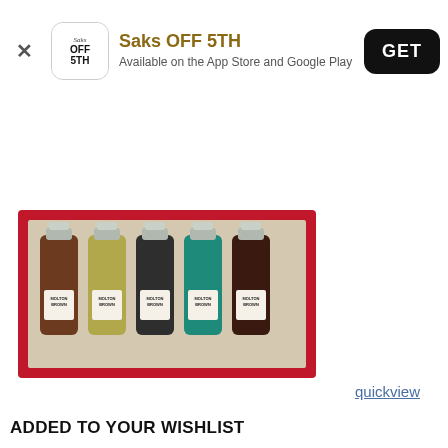[Figure (screenshot): App banner for Saks OFF 5TH with close button, app icon, app name and description, and GET button]
[Figure (photo): Molton Brown gift set of 5 travel-size shower gel bottles in a red box — brown, yellow-green, dark charcoal, teal, and dark brown bottles with silver caps]
quickview
ADDED TO YOUR WISHLIST